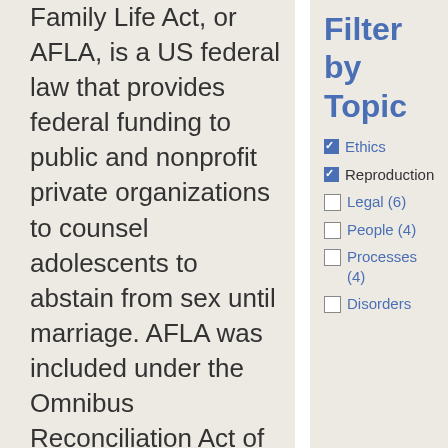Family Life Act, or AFLA, is a US federal law that provides federal funding to public and nonprofit private organizations to counsel adolescents to abstain from sex until marriage. AFLA was included under the Omnibus Reconciliation Act of 1981, which the US Congress signed into law that same year. Through the AFLA, the US Department of Health and Human Services, or HHS, funded a variety of sex education programs for adolescents to address the social and economic ramifications associated with pregnancy and
Filter by Topic
Ethics (checked)
Reproduction (checked)
Legal (6)
People (4)
Processes (4)
Disorders